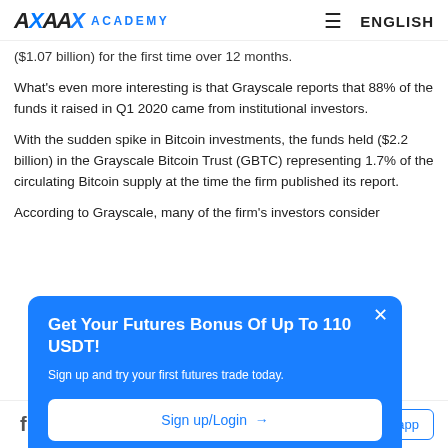AAX ACADEMY | ENGLISH
($1.07 billion) for the first time over 12 months.
What's even more interesting is that Grayscale reports that 88% of the funds it raised in Q1 2020 came from institutional investors.
With the sudden spike in Bitcoin investments, the funds held ($2.2 billion) in the Grayscale Bitcoin Trust (GBTC) representing 1.7% of the circulating Bitcoin supply at the time the firm published its report.
According to Grayscale, many of the firm's investors consider
[Figure (infographic): Modal popup with blue background: 'Get Your Futures Bonus Of Up To 110 USDT!' with subtitle 'Sign up and try your first futures trade today.' and a Sign up/Login button, plus a close X button.]
Social icons: Facebook, Twitter, YouTube, LinkedIn, Weibo | Download app button